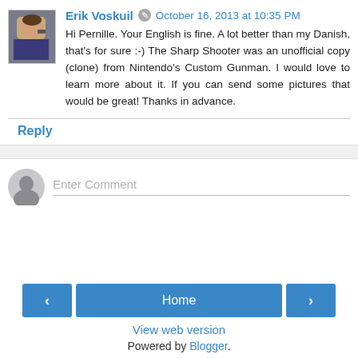[Figure (photo): Avatar photo of Erik Voskuil showing a person holding a gun, small thumbnail image]
Erik Voskuil  October 16, 2013 at 10:35 PM
Hi Pernille. Your English is fine. A lot better than my Danish, that's for sure :-) The Sharp Shooter was an unofficial copy (clone) from Nintendo's Custom Gunman. I would love to learn more about it. If you can send some pictures that would be great! Thanks in advance.
Reply
[Figure (illustration): Generic user/commenter icon, circular grey silhouette]
Enter Comment
< Home >
View web version
Powered by Blogger.